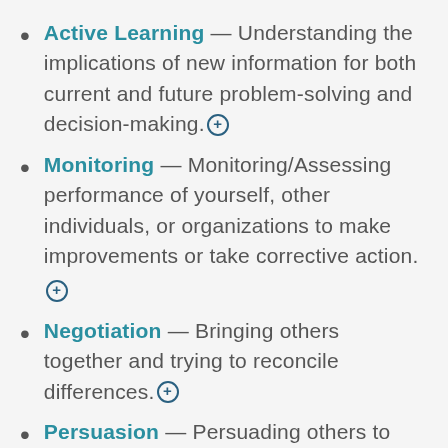Active Learning — Understanding the implications of new information for both current and future problem-solving and decision-making.⊕
Monitoring — Monitoring/Assessing performance of yourself, other individuals, or organizations to make improvements or take corrective action. ⊕
Negotiation — Bringing others together and trying to reconcile differences.⊕
Persuasion — Persuading others to change their minds or behavior.⊕
Coordination — Adjusting actions in...